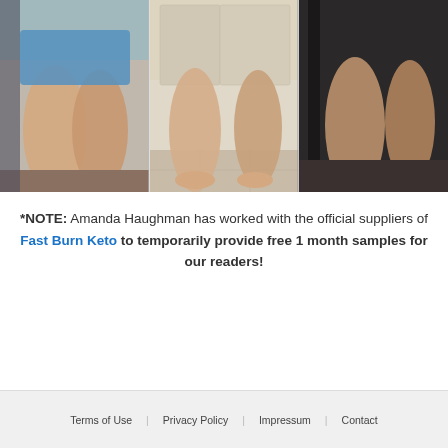[Figure (photo): Three side-by-side comparison photos showing legs/lower body, before and after weight loss transformation. Left panel shows blue shorts, middle panel shows bathroom setting with tile floor, right panel shows dark background.]
*NOTE: Amanda Haughman has worked with the official suppliers of Fast Burn Keto to temporarily provide free 1 month samples for our readers!
Terms of Use   Privacy Policy   Impressum   Contact